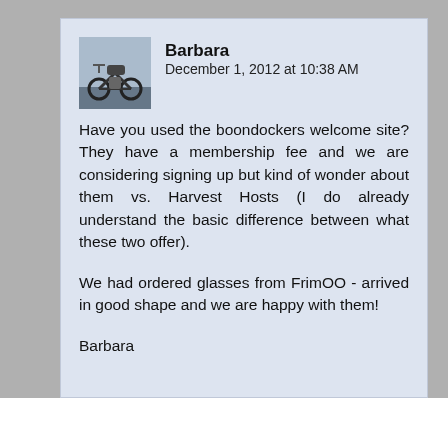Barbara   December 1, 2012 at 10:38 AM

Have you used the boondockers welcome site? They have a membership fee and we are considering signing up but kind of wonder about them vs. Harvest Hosts (I do already understand the basic difference between what these two offer).

We had ordered glasses from FrimOO - arrived in good shape and we are happy with them!

Barbara